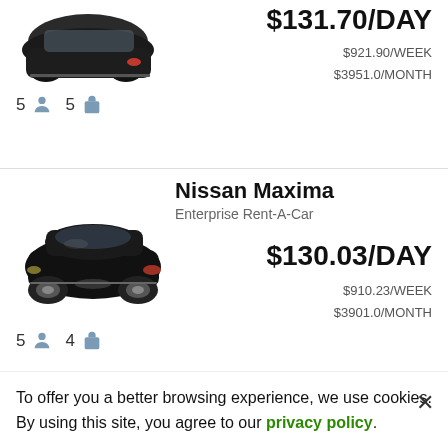[Figure (photo): Partial top of a car listing card showing a dark SUV photo cropped at top, price $131.70/DAY, $921.90/WEEK, $3951.0/MONTH, and icons showing 5 passengers and 5 bags]
5  5
[Figure (photo): Black Nissan Maxima car image]
Nissan Maxima
Enterprise Rent-A-Car
$130.03/DAY
$910.23/WEEK
$3901.0/MONTH
5  4
To offer you a better browsing experience, we use cookies. By using this site, you agree to our privacy policy.